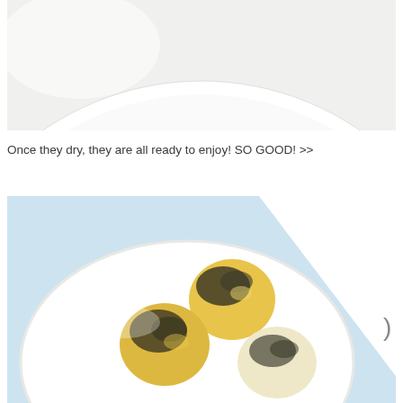[Figure (photo): Top portion of a white plate or bowl on a white/light grey background, cropped showing just the rim and upper curve of the plate.]
Once they dry, they are all ready to enjoy! SO GOOD! >>
[Figure (photo): Overhead view of small round food items (likely energy bites or muffins) with dark speckles/toppings on a white round plate, set against a light blue background with a white diagonal shape in the upper right.]